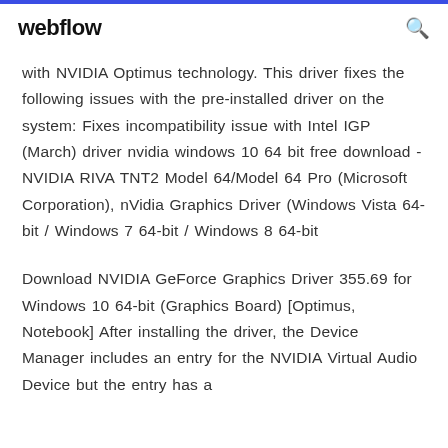webflow
with NVIDIA Optimus technology. This driver fixes the following issues with the pre-installed driver on the system: Fixes incompatibility issue with Intel IGP (March) driver nvidia windows 10 64 bit free download - NVIDIA RIVA TNT2 Model 64/Model 64 Pro (Microsoft Corporation), nVidia Graphics Driver (Windows Vista 64-bit / Windows 7 64-bit / Windows 8 64-bit
Download NVIDIA GeForce Graphics Driver 355.69 for Windows 10 64-bit (Graphics Board) [Optimus, Notebook] After installing the driver, the Device Manager includes an entry for the NVIDIA Virtual Audio Device but the entry has a